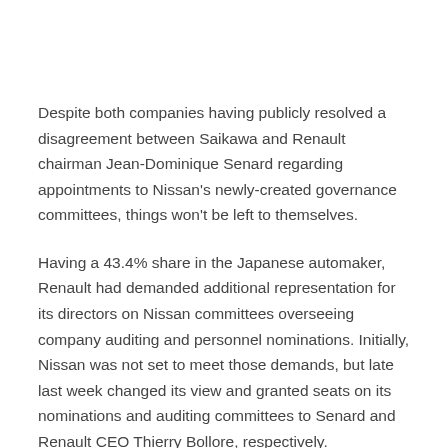Despite both companies having publicly resolved a disagreement between Saikawa and Renault chairman Jean-Dominique Senard regarding appointments to Nissan's newly-created governance committees, things won't be left to themselves.
Having a 43.4% share in the Japanese automaker, Renault had demanded additional representation for its directors on Nissan committees overseeing company auditing and personnel nominations. Initially, Nissan was not set to meet those demands, but late last week changed its view and granted seats on its nominations and auditing committees to Senard and Renault CEO Thierry Bollore, respectively.
Saikawa said that discussions on the future of the alliance will